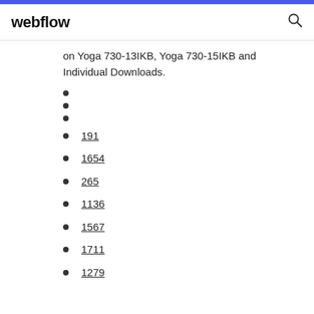webflow
on Yoga 730-13IKB, Yoga 730-15IKB and Individual Downloads.
191
1654
265
1136
1567
1711
1279